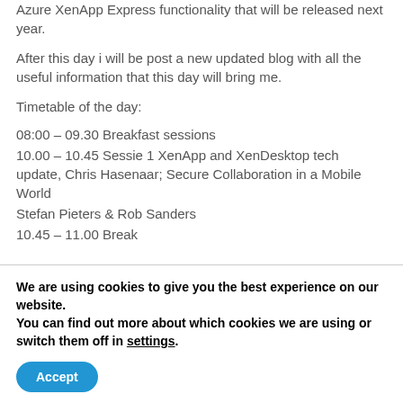Azure XenApp Express functionality that will be released next year.
After this day i will be post a new updated blog with all the useful information that this day will bring me.
Timetable of the day:
08:00 – 09.30 Breakfast sessions
10.00 – 10.45 Sessie 1 XenApp and XenDesktop tech update, Chris Hasenaar; Secure Collaboration in a Mobile World
Stefan Pieters & Rob Sanders
10.45 – 11.00 Break
We are using cookies to give you the best experience on our website.
You can find out more about which cookies we are using or switch them off in settings.